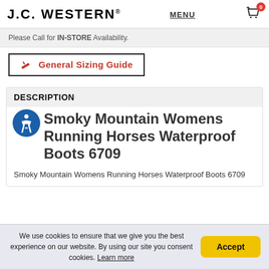J.C. WESTERN® | MENU | Cart 0
Please Call for IN-STORE Availability.
🔧 General Sizing Guide
DESCRIPTION
Smoky Mountain Womens Running Horses Waterproof Boots 6709
Smoky Mountain Womens Running Horses Waterproof Boots 6709
We use cookies to ensure that we give you the best experience on our website. By using our site you consent cookies. Learn more